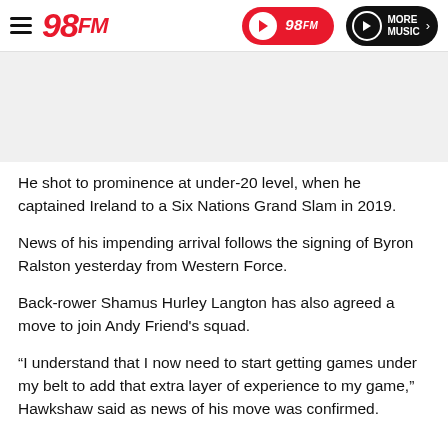98FM — More Music
[Figure (other): Advertisement placeholder area (light grey background)]
He shot to prominence at under-20 level, when he captained Ireland to a Six Nations Grand Slam in 2019.
News of his impending arrival follows the signing of Byron Ralston yesterday from Western Force.
Back-rower Shamus Hurley Langton has also agreed a move to join Andy Friend's squad.
“I understand that I now need to start getting games under my belt to add that extra layer of experience to my game,” Hawkshaw said as news of his move was confirmed.